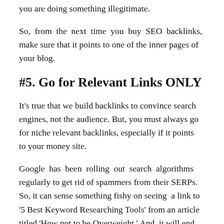you are doing something illegitimate.
So, from the next time you buy SEO backlinks, make sure that it points to one of the inner pages of your blog.
#5. Go for Relevant Links ONLY
It's true that we build backlinks to convince search engines, not the audience. But, you must always go for niche relevant backlinks, especially if it points to your money site.
Google has been rolling out search algorithms regularly to get rid of spammers from their SERPs. So, it can sense something fishy on seeing a link to '5 Best Keyword Researching Tools' from an article titled 'How not to be Overweight.' And, it will end up in ruining all your organic traffic figures.